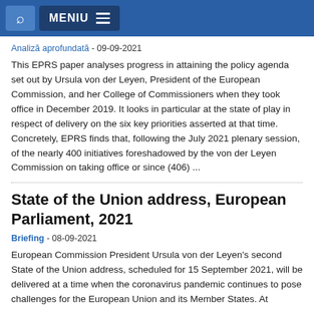MENIU
Analiză aprofundată - 09-09-2021
This EPRS paper analyses progress in attaining the policy agenda set out by Ursula von der Leyen, President of the European Commission, and her College of Commissioners when they took office in December 2019. It looks in particular at the state of play in respect of delivery on the six key priorities asserted at that time. Concretely, EPRS finds that, following the July 2021 plenary session, of the nearly 400 initiatives foreshadowed by the von der Leyen Commission on taking office or since (406) ...
State of the Union address, European Parliament, 2021
Briefing - 08-09-2021
European Commission President Ursula von der Leyen's second State of the Union address, scheduled for 15 September 2021, will be delivered at a time when the coronavirus pandemic continues to pose challenges for the European Union and its Member States. At